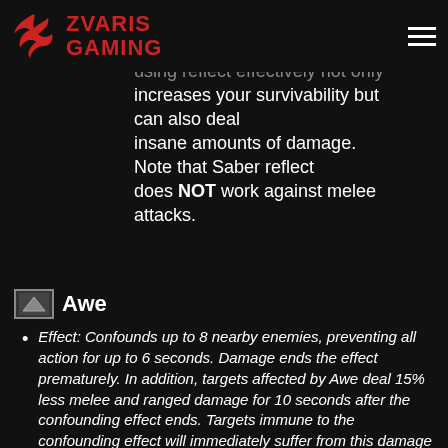Zvaris Gaming
the most important skills to learn as a... using reflect effectively not only increases your survivability but can also deal insane amounts of damage. Note that Saber reflect does NOT work against melee attacks.
Awe
Effect: Confounds up to 8 nearby enemies, preventing all action for up to 6 seconds. Damage ends the effect prematurely. In addition, targets affected by Awe deal 15% less melee and ranged damage for 10 seconds after the confounding effect ends. Targets immune to the confounding effect will immediately suffer from this damage reducing effect. 60s CD
Recommendation: Take this only in situations where Saber Reflect and Blade Blitz are not particularly effective. Useful for encounters with lots of Melee/Ranged damage or when you want the CC effect.
Blade Blitz